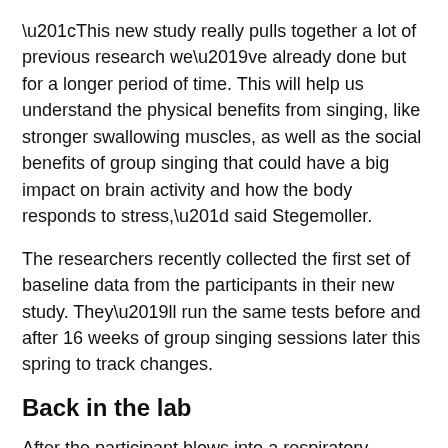“This new study really pulls together a lot of previous research we’ve already done but for a longer period of time. This will help us understand the physical benefits from singing, like stronger swallowing muscles, as well as the social benefits of group singing that could have a big impact on brain activity and how the body responds to stress,” said Stegemoller.
The researchers recently collected the first set of baseline data from the participants in their new study. They’ll run the same tests before and after 16 weeks of group singing sessions later this spring to track changes.
Back in the lab
After the participant blows into a respiratory pressure meter to measure the strength of her breath, Stegemoller walks over to a cupboard.
“Do you prefer chocolate or vanilla pudding?” Stegemoller asks. The participant laughs and likes chocolate, Stegemoller